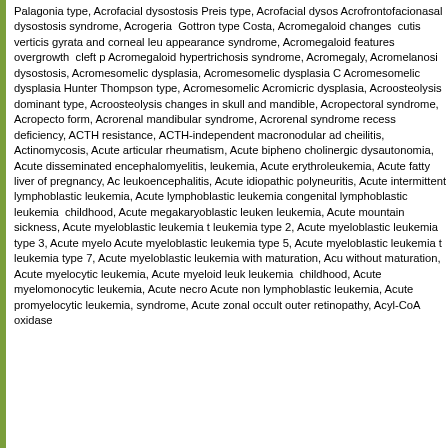Palagonia type, Acrofacial dysostosis Preis type, Acrofacial dysostosis Acrofrontofacionasal dysostosis syndrome, Acrogeria Gottron type Costa, Acromegaloid changes cutis verticis gyrata and corneal leu appearance syndrome, Acromegaloid features overgrowth cleft p Acromegaloid hypertrichosis syndrome, Acromegaly, Acromelanosis dysostosis, Acromesomelic dysplasia, Acromesomelic dysplasia C Acromesomelic dysplasia Hunter Thompson type, Acromesomelic Acromicric dysplasia, Acroosteolysis dominant type, Acroosteolysis changes in skull and mandible, Acropectoral syndrome, Acropecto form, Acrorenal mandibular syndrome, Acrorenal syndrome recess deficiency, ACTH resistance, ACTH-independent macronodular ad cheilitis, Actinomycosis, Acute articular rheumatism, Acute bipheno cholinergic dysautonomia, Acute disseminated encephalomyelitis, leukemia, Acute erythroleukemia, Acute fatty liver of pregnancy, Ac leukoencephalitis, Acute idiopathic polyneuritis, Acute intermittent lymphoblastic leukemia, Acute lymphoblastic leukemia congenital lymphoblastic leukemia childhood, Acute megakaryoblastic leuken leukemia, Acute mountain sickness, Acute myeloblastic leukemia t leukemia type 2, Acute myeloblastic leukemia type 3, Acute myelo Acute myeloblastic leukemia type 5, Acute myeloblastic leukemia t leukemia type 7, Acute myeloblastic leukemia with maturation, Acu without maturation, Acute myelocytic leukemia, Acute myeloid leuk leukemia childhood, Acute myelomonocytic leukemia, Acute necro Acute non lymphoblastic leukemia, Acute promyelocytic leukemia, syndrome, Acute zonal occult outer retinopathy, Acyl-CoA oxidase